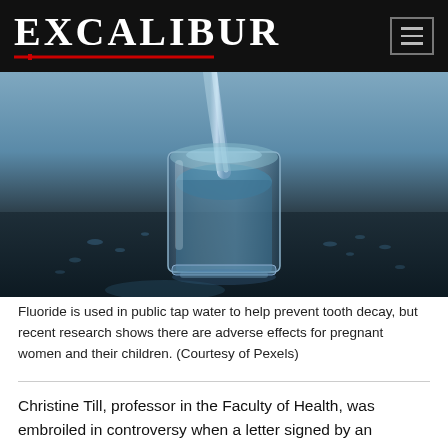EXCALIBUR
[Figure (photo): A glass of water being filled, with water splashing and droplets on a dark reflective surface, against a blue-gray background.]
Fluoride is used in public tap water to help prevent tooth decay, but recent research shows there are adverse effects for pregnant women and their children. (Courtesy of Pexels)
Christine Till, professor in the Faculty of Health, was embroiled in controversy when a letter signed by an